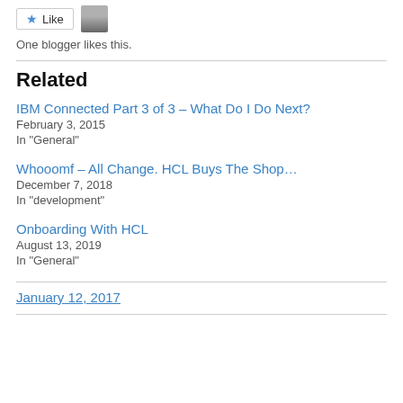[Figure (other): Like button with star icon and user avatar photo]
One blogger likes this.
Related
IBM Connected Part 3 of 3 – What Do I Do Next?
February 3, 2015
In "General"
Whooomf – All Change. HCL Buys The Shop…
December 7, 2018
In "development"
Onboarding With HCL
August 13, 2019
In "General"
January 12, 2017